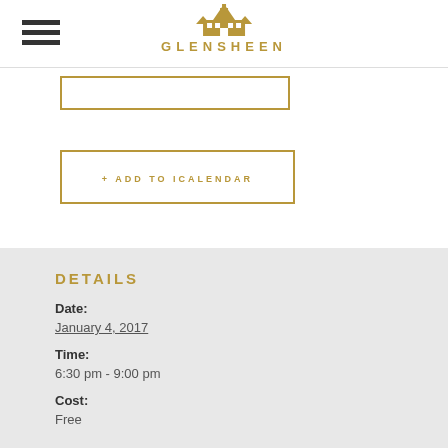GLENSHEEN
+ ADD TO ICALENDAR
DETAILS
Date:
January 4, 2017
Time:
6:30 pm - 9:00 pm
Cost:
Free